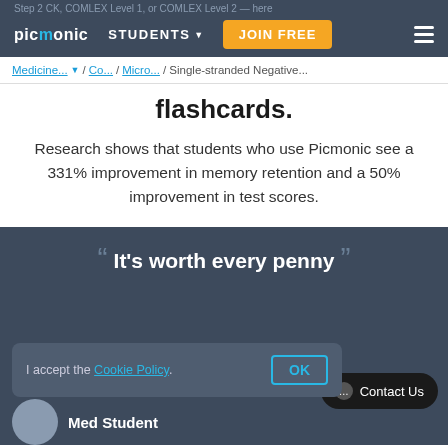Step 2 CK, COMLEX Level 1, or COMLEX Level 2 — here
picmonic | STUDENTS ▾ | JOIN FREE
Medicine... ▾ / Co... / Micro... / Single-stranded Negative...
flashcards.
Research shows that students who use Picmonic see a 331% improvement in memory retention and a 50% improvement in test scores.
"It's worth every penny"
I accept the Cookie Policy.
OK
Contact Us
Med Student